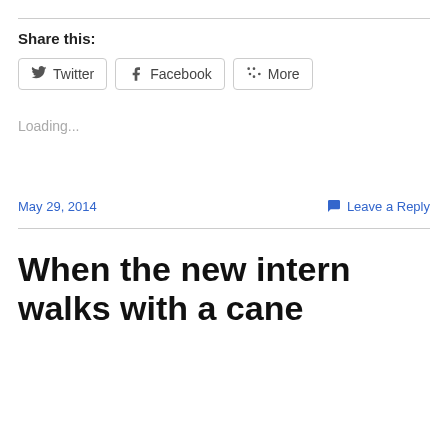Share this:
Twitter  Facebook  More
Loading...
May 29, 2014    Leave a Reply
When the new intern walks with a cane